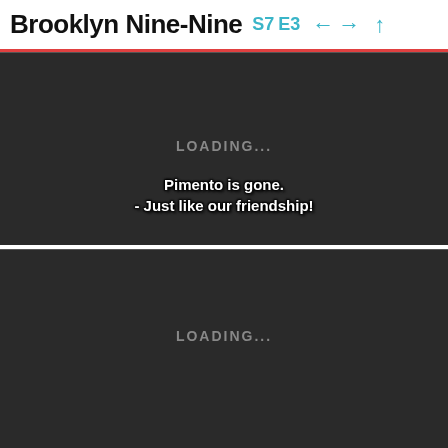Brooklyn Nine-Nine S7 E3
[Figure (screenshot): Dark video player panel showing LOADING... text in gray, with white subtitle text: Pimento is gone. - Just like our friendship!]
[Figure (screenshot): Dark video player panel showing LOADING... text in gray, content not yet loaded]